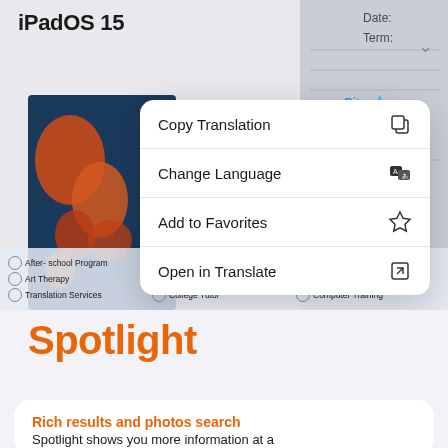[Figure (screenshot): iPadOS 15 screenshot showing a translation context menu popup with options: Copy Translation, Change Language, Add to Favorites, Open in Translate. Background shows a colorful map/form with checkboxes for After-school Program, Donation Drive, Policy and Advocacy, Art Therapy, Office Management, Career Services, Translation Services, College Tutor, Computer Training.]
Spotlight
Rich results and photos search
Spotlight shows you more information at a